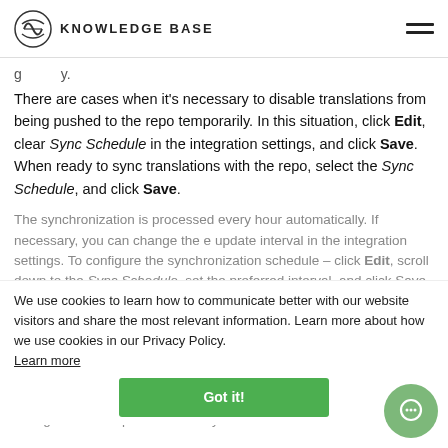KNOWLEDGE BASE
g...y.
There are cases when it’s necessary to disable translations from being pushed to the repo temporarily. In this situation, click Edit, clear Sync Schedule in the integration settings, and click Save. When ready to sync translations with the repo, select the Sync Schedule, and click Save.
The synchronization is processed every hour automatically. If necessary, you can change the update interval in the integration settings. To configure the synchronization schedule – click Edit, scroll down to the Sync Schedule, set the preferred interval, and click Save.
We use cookies to learn how to communicate better with our website visitors and share the most relevant information. Learn more about how we use cookies in our Privacy Policy. Learn more
Got it!
Not depending on the synchronization settings, source files’ changes on the repo will still be synced...